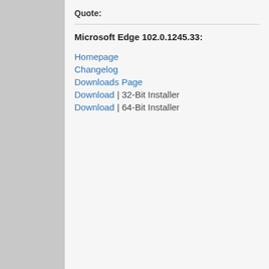Quote:
Microsoft Edge 102.0.1245.33:
Homepage
Changelog
Downloads Page
Download | 32-Bit Installer
Download | 64-Bit Installer
Find
harlan4096
MalWare Zoo Team
10 June 22, 06:54